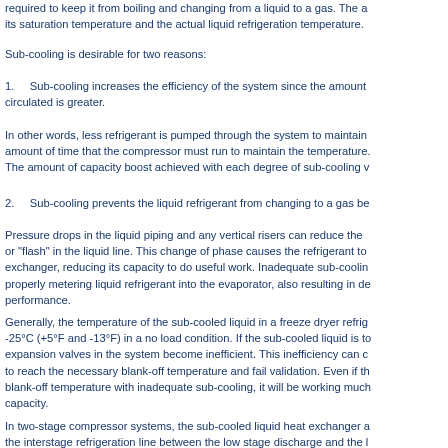required to keep it from boiling and changing from a liquid to a gas. The a its saturation temperature and the actual liquid refrigeration temperature.
Sub-cooling is desirable for two reasons:
1.    Sub-cooling increases the efficiency of the system since the amount circulated is greater.
In other words, less refrigerant is pumped through the system to maintain amount of time that the compressor must run to maintain the temperature. The amount of capacity boost achieved with each degree of sub-cooling v
2.    Sub-cooling prevents the liquid refrigerant from changing to a gas be
Pressure drops in the liquid piping and any vertical risers can reduce the or "flash" in the liquid line. This change of phase causes the refrigerant to exchanger, reducing its capacity to do useful work. Inadequate sub-coolin properly metering liquid refrigerant into the evaporator, also resulting in de performance.
Generally, the temperature of the sub-cooled liquid in a freeze dryer refrig -25°C (+5°F and -13°F) in a no load condition. If the sub-cooled liquid is to expansion valves in the system become inefficient. This inefficiency can c to reach the necessary blank-off temperature and fail validation. Even if th blank-off temperature with inadequate sub-cooling, it will be working much capacity.
In two-stage compressor systems, the sub-cooled liquid heat exchanger a the interstage refrigeration line between the low stage discharge and the l